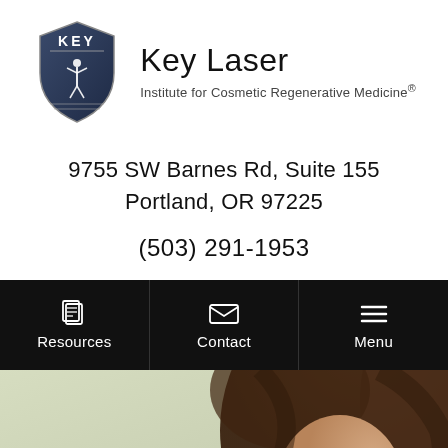[Figure (logo): Key Laser Institute shield logo with figure and brand name 'Key Laser' and subtitle 'Institute for Cosmetic Regenerative Medicine®']
9755 SW Barnes Rd, Suite 155
Portland, OR 97225
(503) 291-1953
[Figure (screenshot): Navigation bar with three items: Resources (document icon), Contact (envelope icon), Menu (hamburger icon) on black background]
[Figure (photo): Hero image: woman with brown wavy hair looking up, light greenish sky background, cropped to show head and shoulder]